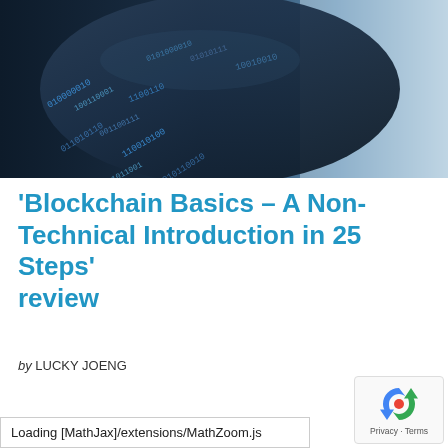[Figure (photo): Close-up photo of a dark metallic cylindrical surface covered with binary digits (0s and 1s), with a blurred light background suggesting a technology/digital theme.]
'Blockchain Basics - A Non-Technical Introduction in 25 Steps' review
by LUCKY JOENG
Loading [MathJax]/extensions/MathZoom.js